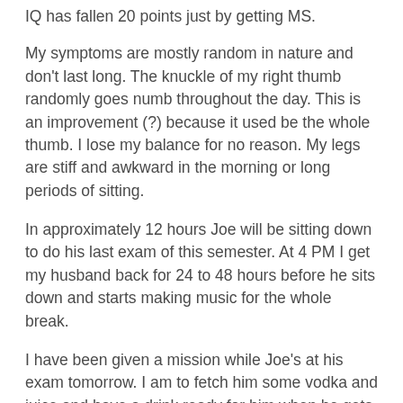IQ has fallen 20 points just by getting MS.
My symptoms are mostly random in nature and don't last long. The knuckle of my right thumb randomly goes numb throughout the day. This is an improvement (?) because it used be the whole thumb. I lose my balance for no reason. My legs are stiff and awkward in the morning or long periods of sitting.
In approximately 12 hours Joe will be sitting down to do his last exam of this semester. At 4 PM I get my husband back for 24 to 48 hours before he sits down and starts making music for the whole break.
I have been given a mission while Joe's at his exam tomorrow. I am to fetch him some vodka and juice and have a drink ready for him when he gets home. This semester, while not as bad as the semester of biology, has been particularly rough. We have learned that Joe is not naturally a mathematician.
Doing my at home exercises prescribed to me by the